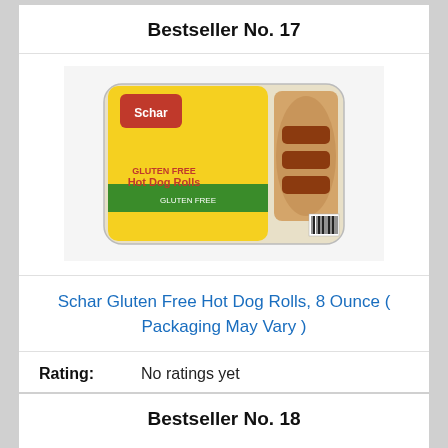Bestseller No. 17
[Figure (photo): Product photo of Schar Gluten Free Hot Dog Rolls package with yellow label, showing hot dog rolls inside clear packaging]
Schar Gluten Free Hot Dog Rolls, 8 Ounce ( Packaging May Vary )
Rating: No ratings yet
Check on Amazon
Bestseller No. 18